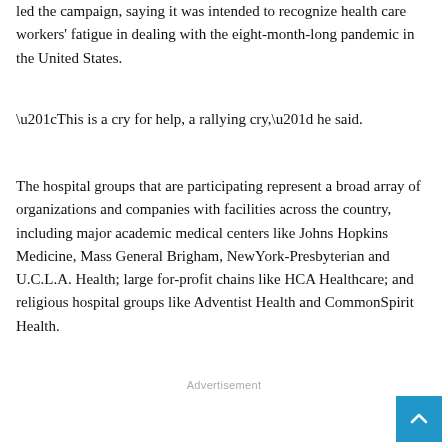led the campaign, saying it was intended to recognize health care workers' fatigue in dealing with the eight-month-long pandemic in the United States.
“This is a cry for help, a rallying cry,” he said.
The hospital groups that are participating represent a broad array of organizations and companies with facilities across the country, including major academic medical centers like Johns Hopkins Medicine, Mass General Brigham, NewYork-Presbyterian and U.C.L.A. Health; large for-profit chains like HCA Healthcare; and religious hospital groups like Adventist Health and CommonSpirit Health.
Advertisement